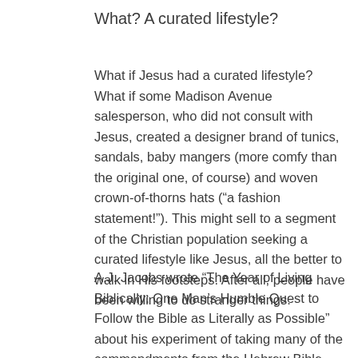What? A curated lifestyle?
What if Jesus had a curated lifestyle? What if some Madison Avenue salesperson, who did not consult with Jesus, created a designer brand of tunics, sandals, baby mangers (more comfy than the original one, of course) and woven crown-of-thorns hats (“a fashion statement!”). This might sell to a segment of the Christian population seeking a curated lifestyle like Jesus, all the better to walk in His footsteps. After all, people have been willing to do stranger things.
A.J. Jacobs wrote “The Year of Living Biblically: One Man’s Humble Quest to Follow the Bible as Literally as Possible” about his experiment of taking many of the commandments from the Hebrew Bible and living them out. For example